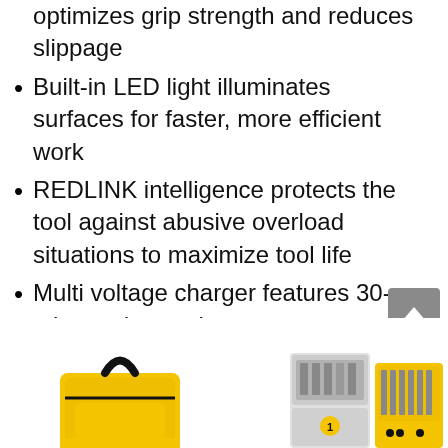optimizes grip strength and reduces slippage
Built-in LED light illuminates surfaces for faster, more efficient work
REDLINK intelligence protects the tool against abusive overload situations to maximize tool life
Multi voltage charger features 30-minute charge time.
[Figure (photo): Product photo showing a yellow and black tool bag, drill bit set cases, and accessory kits at the bottom of the page]